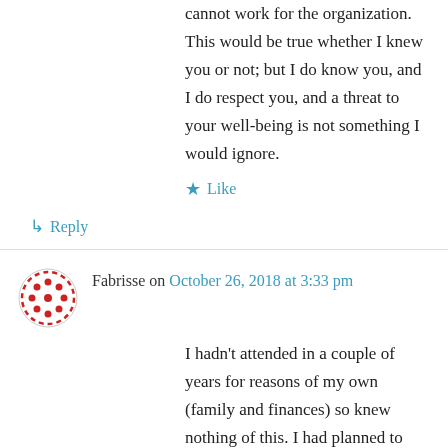cannot work for the organization. This would be true whether I knew you or not; but I do know you, and I do respect you, and a threat to your well-being is not something I would ignore.
★ Like
↳ Reply
Fabrisse on October 26, 2018 at 3:33 pm
I hadn't attended in a couple of years for reasons of my own (family and finances) so knew nothing of this. I had planned to return this year, bringing friends from DC with me because I love Arisia so much. It's not happening now. Let me know if I can help in any way.